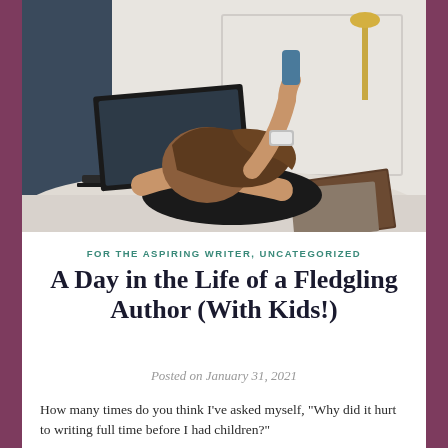[Figure (photo): Woman slumped over desk with laptop and notebook, head resting on arms, holding a phone up, appearing stressed or exhausted.]
FOR THE ASPIRING WRITER, UNCATEGORIZED
A Day in the Life of a Fledgling Author (With Kids!)
Posted on January 31, 2021
How many times do you think I've asked myself, "Why did it hurt to writing full time before I had children?"